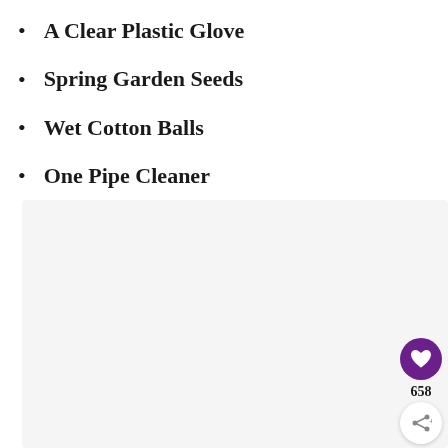A Clear Plastic Glove
Spring Garden Seeds
Wet Cotton Balls
One Pipe Cleaner
[Figure (photo): Light gray rectangular image area with a floating heart/like button (purple circle) showing count 658, and a share button below it]